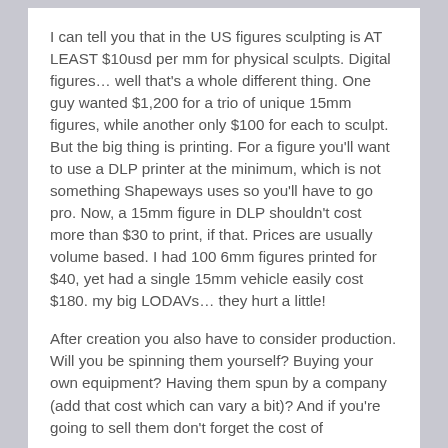I can tell you that in the US figures sculpting is AT LEAST $10usd per mm for physical sculpts.  Digital figures… well that's a whole different thing.  One guy wanted $1,200 for a trio of unique 15mm figures, while another only $100 for each to sculpt.  But the big thing is printing.  For a figure you'll want to use a DLP printer at the minimum, which is not something Shapeways uses so you'll have to go pro.  Now, a 15mm figure in DLP shouldn't cost more than $30 to print, if that.  Prices are usually volume based.  I had 100 6mm figures printed for $40, yet had a single 15mm vehicle easily cost $180.  my big LODAVs… they hurt a little!
After creation you also have to consider production.  Will you be spinning them yourself?  Buying your own equipment?  Having them spun by a company (add that cost which can vary a bit)?  And if you're going to sell them don't forget the cost of licensing and distribution as well.